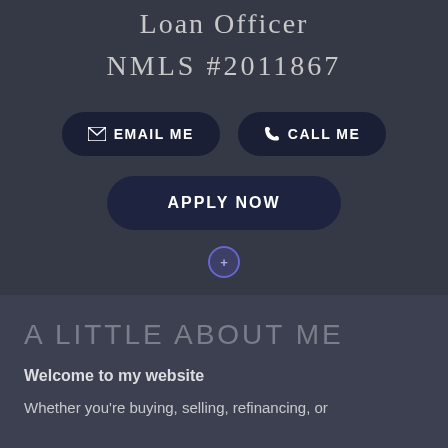Loan Officer
NMLS #2011867
[Figure (screenshot): EMAIL ME button with envelope icon, dark navy pill-shaped button]
[Figure (screenshot): CALL ME button with phone icon, dark navy pill-shaped button]
[Figure (screenshot): APPLY NOW button, dark navy pill-shaped button]
A LITTLE ABOUT ME
Welcome to my website
Whether you're buying, selling, refinancing, or